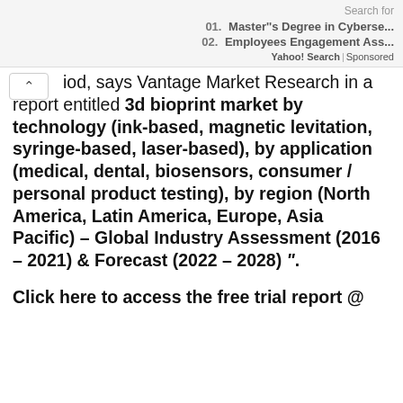Search for
01. Master''s Degree in Cyberse...
02. Employees Engagement Ass...
Yahoo! Search | Sponsored
iod, says Vantage Market Research in a report entitled 3d bioprint market by technology (ink-based, magnetic levitation, syringe-based, laser-based), by application (medical, dental, biosensors, consumer / personal product testing), by region (North America, Latin America, Europe, Asia Pacific) – Global Industry Assessment (2016 – 2021) & Forecast (2022 – 2028) ".
Click here to access the free trial report @